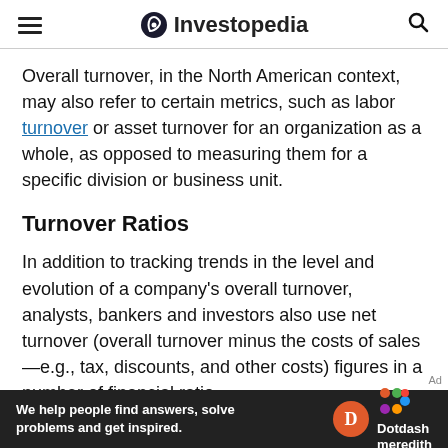Investopedia
Overall turnover, in the North American context, may also refer to certain metrics, such as labor turnover or asset turnover for an organization as a whole, as opposed to measuring them for a specific division or business unit.
Turnover Ratios
In addition to tracking trends in the level and evolution of a company's overall turnover, analysts, bankers and investors also use net turnover (overall turnover minus the costs of sales—e.g., tax, discounts, and other costs) figures in a number of financial ratio
[Figure (other): Dotdash Meredith advertisement banner: 'We help people find answers, solve problems and get inspired.' with Dotdash Meredith logo.]